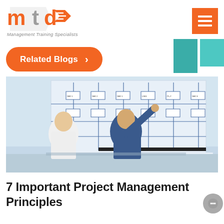[Figure (logo): MTD Management Training Specialists logo with orange and grey text and arrow]
[Figure (other): Orange hamburger menu button with three white horizontal lines]
[Figure (other): Two teal/turquoise rectangles in top right corner]
[Figure (other): Orange rounded button with white text 'Related Blogs >']
[Figure (photo): Two businessmen in suits reviewing a large engineering/project diagram chart on a board]
7 Important Project Management Principles